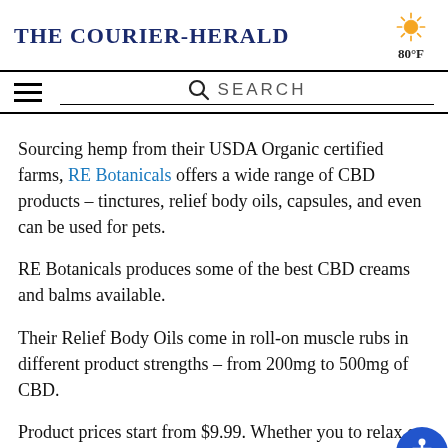The Courier-Herald | 80°F
Sourcing hemp from their USDA Organic certified farms, RE Botanicals offers a wide range of CBD products – tinctures, relief body oils, capsules, and even can be used for pets.
RE Botanicals produces some of the best CBD creams and balms available.
Their Relief Body Oils come in roll-on muscle rubs in different product strengths – from 200mg to 500mg of CBD.
Product prices start from $9.99. Whether you to relax or rejuvenate your body, you can roll away